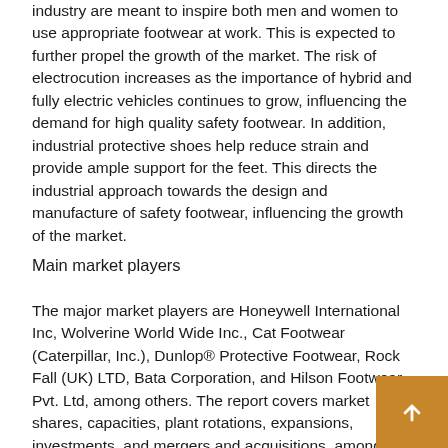industry are meant to inspire both men and women to use appropriate footwear at work. This is expected to further propel the growth of the market. The risk of electrocution increases as the importance of hybrid and fully electric vehicles continues to grow, influencing the demand for high quality safety footwear. In addition, industrial protective shoes help reduce strain and provide ample support for the feet. This directs the industrial approach towards the design and manufacture of safety footwear, influencing the growth of the market.
Main market players
The major market players are Honeywell International Inc, Wolverine World Wide Inc., Cat Footwear (Caterpillar, Inc.), Dunlop® Protective Footwear, Rock Fall (UK) LTD, Bata Corporation, and Hilson Footwear Pvt. Ltd, among others. The report covers market shares, capacities, plant rotations, expansions, investments, and mergers and acquisitions, among other latest developments of these market players.